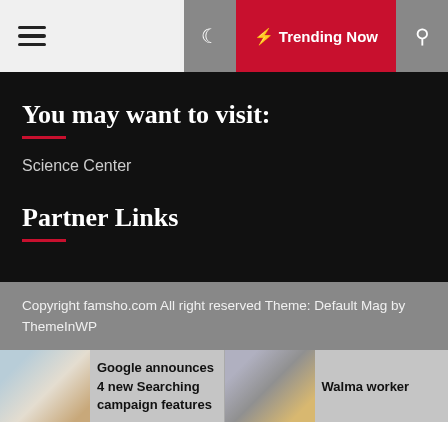☰ Trending Now 🔍
You may want to visit:
Science Center
Partner Links
Copyright famsho.com All right reserved Theme: Default Mag by ThemeInWP
Google announces 4 new Searching campaign features
Walma worker